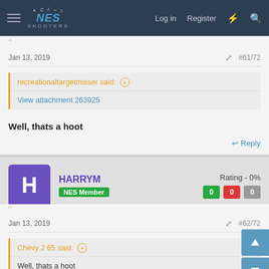NES Shooters — Log in  Register
Jan 13, 2019  #61/72
recreationaltargetmisser said: ⊕
View attachment 263925
Well, thats a hoot
↩ Reply
HARRYM  NES Member  Rating - 0%  0  0  0
Jan 13, 2019  #62/72
Chevy 2 65 said: ⊕
Well, thats a hoot